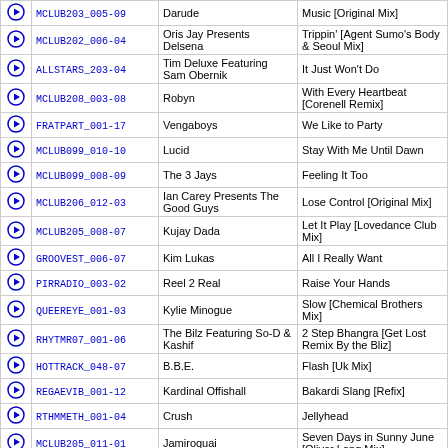|  | Code | Artist | Title |
| --- | --- | --- | --- |
| ▶ | MCLUB203_005-09 | Darude | Music [Original Mix] |
| ▶ | MCLUB202_006-04 | Oris Jay Presents Delsena | Trippin' [Agent Sumo's Body & Seoul Mix] |
| ▶ | ALLSTARS_203-04 | Tim Deluxe Featuring Sam Obernik | It Just Won't Do |
| ▶ | MCLUB208_003-08 | Robyn | With Every Heartbeat [Corenell Remix] |
| ▶ | FRATPART_001-17 | Vengaboys | We Like to Party |
| ▶ | MCLUB099_010-10 | Lucid | Stay With Me Until Dawn |
| ▶ | MCLUB099_008-09 | The 3 Jays | Feeling It Too |
| ▶ | MCLUB206_012-03 | Ian Carey Presents The Good Guys | Lose Control [Original Mix] |
| ▶ | MCLUB205_008-07 | Kujay Dada | Let It Play [Lovedance Club Mix] |
| ▶ | GROOVEST_006-07 | Kim Lukas | All I Really Want |
| ▶ | PIRRADIO_003-02 | Reel 2 Real | Raise Your Hands |
| ▶ | QUEEREYE_001-03 | Kylie Minogue | Slow [Chemical Brothers Mix] |
| ▶ | RHYTMR07_001-06 | The Bilz Featuring So-D & Kashif | 2 Step Bhangra [Get Lost Remix By the Bliz] |
| ▶ | HOTTRACK_048-07 | B.B.E. | Flash [Uk Mix] |
| ▶ | REGAEVIB_001-12 | Kardinal Offishall | Bakardi Slang [Refix] |
| ▶ | RTHMMETH_001-04 | Crush | Jellyhead |
| ▶ | MCLUB205_011-01 | Jamiroquai | Seven Days in Sunny June [Oliver Lang Mix] |
| ▶ | HOTTRACK_056-04 | Dubstar | Stars [Motiv 8 Radio Remix] |
| ▶ | HOTTRACK_056-03 | Brooklyn Bounce | Take a Ride |